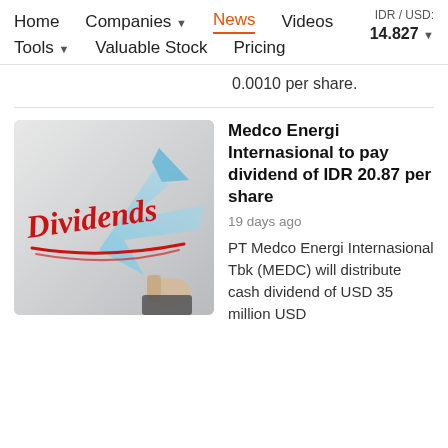Home   Companies ▼   News   Videos   IDR / USD: 14.827 ▼   Tools ▼   Valuable Stock   Pricing
0.0010 per share.
[Figure (photo): Photo showing the word 'Dividends' written in red cursive script with a blue upward arrow in the background, and a hand holding a marker.]
Medco Energi Internasional to pay dividend of IDR 20.87 per share
19 days ago
PT Medco Energi Internasional Tbk (MEDC) will distribute cash dividend of USD 35 million USD